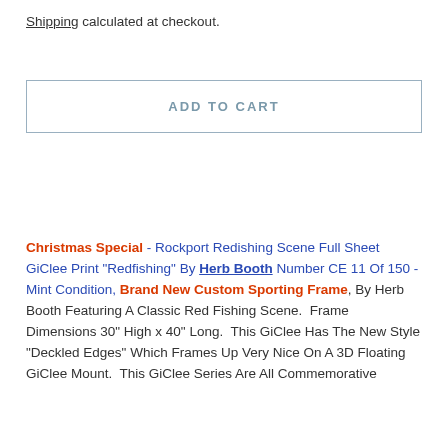Shipping calculated at checkout.
ADD TO CART
Christmas Special - Rockport Redishing Scene Full Sheet GiClee Print "Redfishing" By Herb Booth Number CE 11 Of 150 - Mint Condition, Brand New Custom Sporting Frame, By Herb Booth Featuring A Classic Red Fishing Scene.  Frame Dimensions 30" High x 40" Long.  This GiClee Has The New Style "Deckled Edges" Which Frames Up Very Nice On A 3D Floating GiClee Mount.  This GiClee Series Are All Commemorative